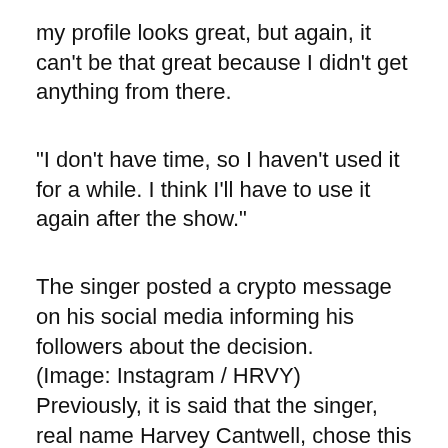my profile looks great, but again, it can’t be that great because I didn’t get anything from there.
“I don’t have time, so I haven’t used it for a while. I think I’ll have to use it again after the show.”
The singer posted a crypto message on his social media informing his followers about the decision.
(Image: Instagram / HRVY)
Previously, it is said that the singer, real name Harvey Cantwell, chose this particular app to attract celebrities after a successful appearance in the BBC dance competition show.